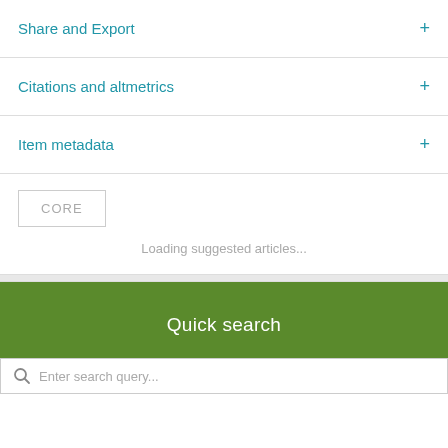Share and Export
Citations and altmetrics
Item metadata
[Figure (logo): CORE logo box with text CORE in gray]
Loading suggested articles...
Quick search
Enter search query...